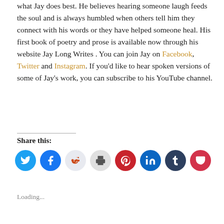what Jay does best. He believes hearing someone laugh feeds the soul and is always humbled when others tell him they connect with his words or they have helped someone heal. His first book of poetry and prose is available now through his website Jay Long Writes . You can join Jay on Facebook, Twitter and Instagram. If you'd like to hear spoken versions of some of Jay's work, you can subscribe to his YouTube channel.
Share this:
[Figure (infographic): Row of social media sharing icon buttons: Twitter (blue), Facebook (blue), Reddit (light gray), Print (gray), Pinterest (red), LinkedIn (blue), Tumblr (dark blue), Pocket (red)]
Loading...